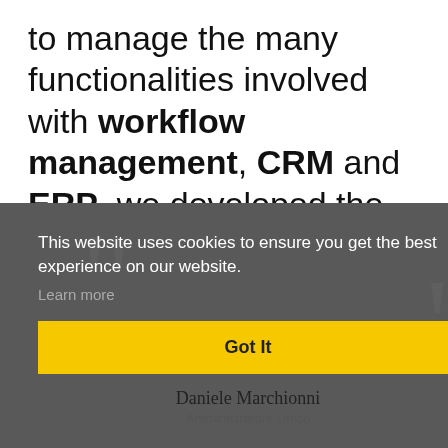to manage the many functionalities involved with workflow management, CRM and ERP, we developed the project basing on our MAR...
This website uses cookies to ensure you get the best experience on our website. Learn more
Got It
Daniele Marchionni
Amministratore Unico